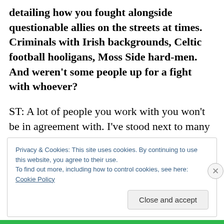detailing how you fought alongside questionable allies on the streets at times. Criminals with Irish backgrounds, Celtic football hooligans, Moss Side hard-men. And weren't some people up for a fight with whoever?
ST: A lot of people you work with you won't be in agreement with. I've stood next to many people in my time against the fascists. I've looked around and thought; these may not be people I've got much in common with, but we've all got one enemy. Anti-fascism is a broad church,
Privacy & Cookies: This site uses cookies. By continuing to use this website, you agree to their use.
To find out more, including how to control cookies, see here: Cookie Policy